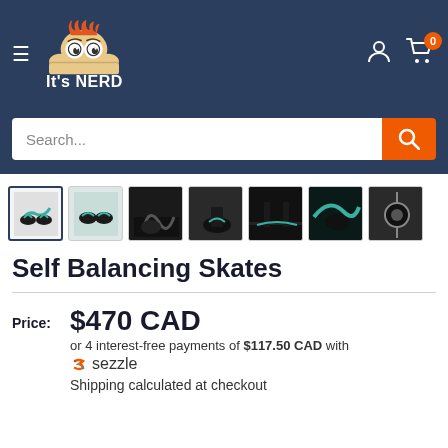[Figure (logo): It's NERD logo with cartoon character peeking over text on dark blue navigation header]
[Figure (screenshot): Product image thumbnail gallery showing Self Balancing Skates from multiple angles]
Self Balancing Skates
Price: $470 CAD or 4 interest-free payments of $117.50 CAD with Sezzle. Shipping calculated at checkout.